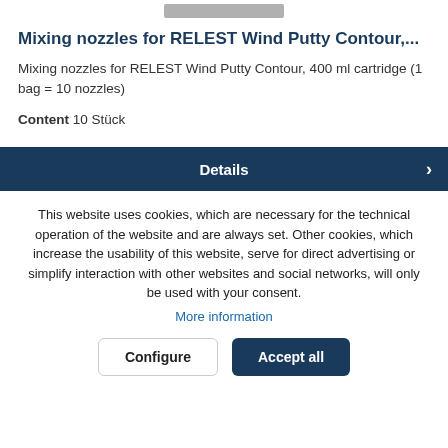[Figure (photo): Top portion of a product image, partially visible as a gray bar at the top of the page]
Mixing nozzles for RELEST Wind Putty Contour,...
Mixing nozzles for RELEST Wind Putty Contour, 400 ml cartridge (1 bag = 10 nozzles)
Content 10 Stück
Details
This website uses cookies, which are necessary for the technical operation of the website and are always set. Other cookies, which increase the usability of this website, serve for direct advertising or simplify interaction with other websites and social networks, will only be used with your consent. More information
Configure | Accept all